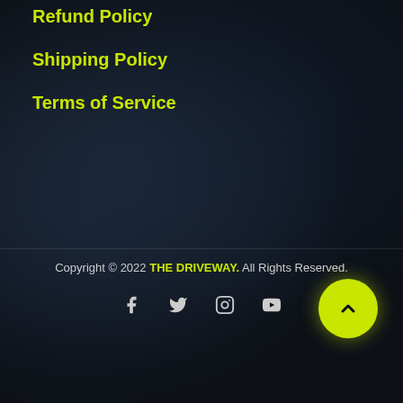Refund Policy
Shipping Policy
Terms of Service
Copyright © 2022 THE DRIVEWAY. All Rights Reserved.
[Figure (other): Social media icons: Facebook, Twitter, Instagram, YouTube]
[Figure (other): Green circular back-to-top button with upward chevron arrow]